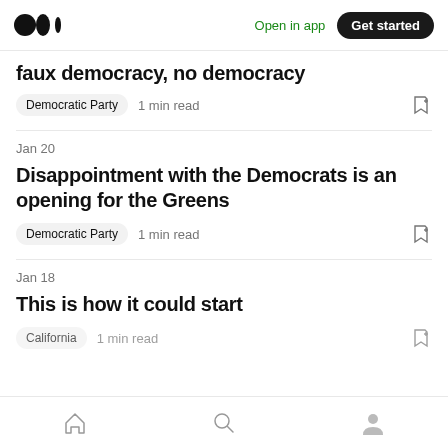Medium logo | Open in app | Get started
faux democracy, no democracy
Democratic Party  1 min read
Jan 20
Disappointment with the Democrats is an opening for the Greens
Democratic Party  1 min read
Jan 18
This is how it could start
California  1 min read
Home | Search | Profile